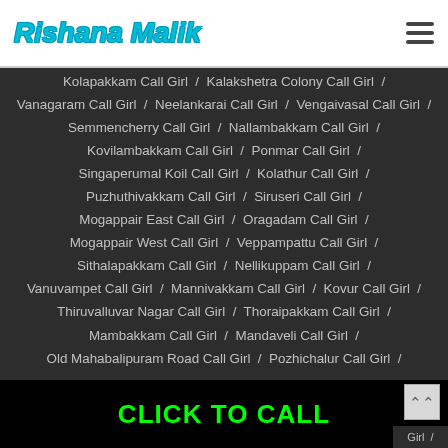Rishana Malik
Kolapakkam Call Girl / Kalakshetra Colony Call Girl / Vanagaram Call Girl / Neelankarai Call Girl / Vengaivasal Call Girl / Semmencherry Call Girl / Nallambakkam Call Girl / Kovilambakkam Call Girl / Ponmar Call Girl / Singaperumal Koil Call Girl / Kolathur Call Girl / Puzhuthivakkam Call Girl / Siruseri Call Girl / Mogappair East Call Girl / Oragadam Call Girl / Mogappair West Call Girl / Veppampattu Call Girl / Sithalapakkam Call Girl / Nellikuppam Call Girl / Vanuvampet Call Girl / Mannivakkam Call Girl / Kovur Call Girl / Thiruvalluvar Nagar Call Girl / Thoraipakkam Call Girl / Mambakkam Call Girl / Mandaveli Call Girl / Old Mahabalipuram Road Call Girl / Pozhichalur Call Girl /
CLICK TO CALL